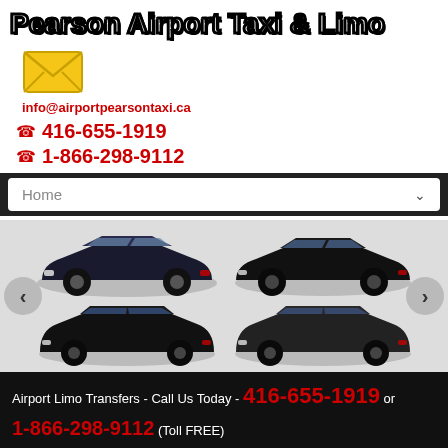Pearson Airport Taxi & Limo
[Figure (illustration): Yellow envelope icon]
info@airportpearsontaxi.ca
416-655-1919
1-866-298-9112
Home
[Figure (photo): Four black luxury vehicles: two sedans on top row, two SUVs on bottom row, with left and right navigation arrows]
Airport Limo Transfers - Call Us Today - 416-655-1919 or 1-866-298-9112 (Toll FREE)
Call Us or Book Online